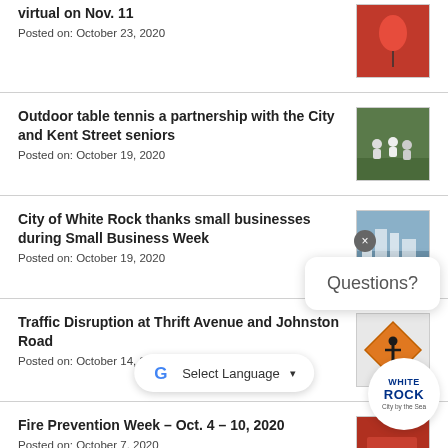virtual on Nov. 11
Posted on: October 23, 2020
Outdoor table tennis a partnership with the City and Kent Street seniors
Posted on: October 19, 2020
City of White Rock thanks small businesses during Small Business Week
Posted on: October 19, 2020
Traffic Disruption at Thrift Avenue and Johnston Road
Posted on: October 14, 2020
Fire Prevention Week – Oct. 4 – 10, 2020
Posted on: October 7, 2020
Businesses during City of White Rock construction on Marine Drive